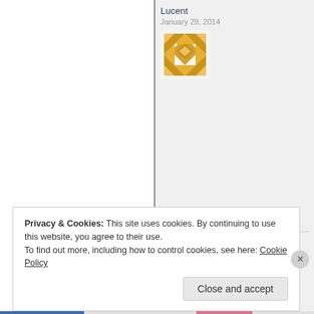Lucent
January 29, 2014
[Figure (illustration): Golden/amber geometric quilt-pattern avatar icon for user Lucent]
Lucent
January 29, 2014
[Figure (illustration): Golden/amber geometric quilt-pattern avatar icon for user Lucent (second instance)]
Privacy & Cookies: This site uses cookies. By continuing to use this website, you agree to their use.
To find out more, including how to control cookies, see here: Cookie Policy
Close and accept